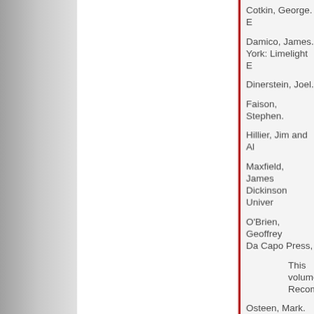Cotkin, George. E
Damico, James. York: Limelight E
Dinerstein, Joel.
Faison, Stephen.
Hillier, Jim and Al
Maxfield, James Dickinson Univer
O'Brien, Geoffrey Da Capo Press,
This volume Recommended
Osteen, Mark. Ni
Porfirio, Robert. New York: New Y